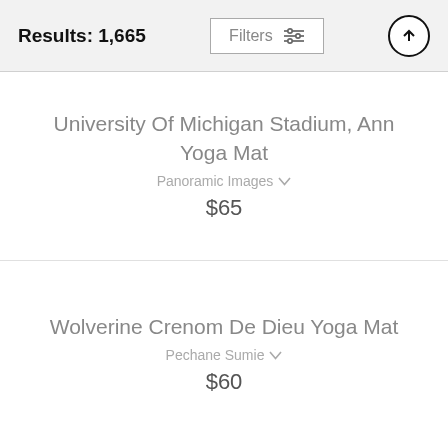Results: 1,665
University Of Michigan Stadium, Ann Yoga Mat
Panoramic Images
$65
Wolverine Crenom De Dieu Yoga Mat
Pechane Sumie
$60